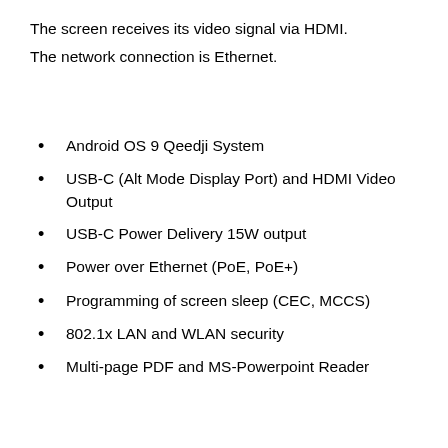The screen receives its video signal via HDMI.
The network connection is Ethernet.
Android OS 9 Qeedji System
USB-C (Alt Mode Display Port) and HDMI Video Output
USB-C Power Delivery 15W output
Power over Ethernet (PoE, PoE+)
Programming of screen sleep (CEC, MCCS)
802.1x LAN and WLAN security
Multi-page PDF and MS-Powerpoint Reader